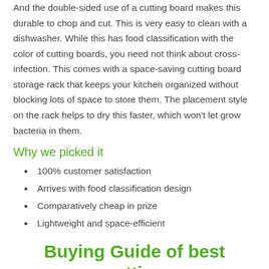And the double-sided use of a cutting board makes this durable to chop and cut. This is very easy to clean with a dishwasher. While this has food classification with the color of cutting boards, you need not think about cross-infection. This comes with a space-saving cutting board storage rack that keeps your kitchen organized without blocking lots of space to store them. The placement style on the rack helps to dry this faster, which won't let grow bacteria in them.
Why we picked it
100% customer satisfaction
Arrives with food classification design
Comparatively cheap in prize
Lightweight and space-efficient
Buying Guide of best cutting